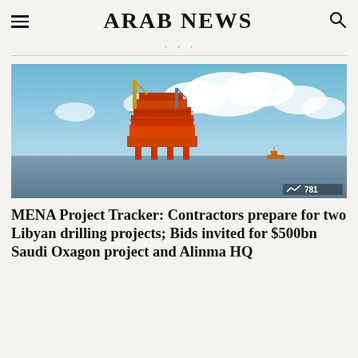ARAB NEWS
· · ·
[Figure (photo): Offshore oil drilling platform in calm blue sea with clouds in background, a small vessel visible in the distance, with a trend/views badge showing 781 in bottom-right corner]
MENA Project Tracker: Contractors prepare for two Libyan drilling projects; Bids invited for $500bn Saudi Oxagon project and Alinma HQ